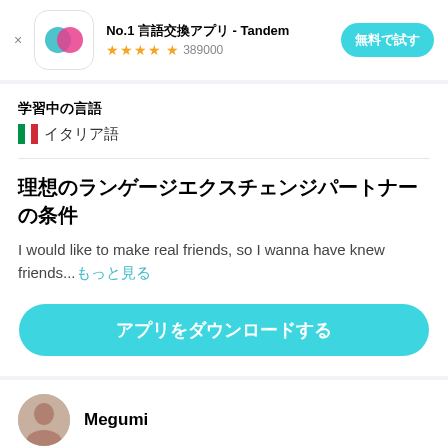[Figure (screenshot): Tandem app advertisement banner with app icon, title, star rating, and try button]
学習中の言語
🇮🇹 イタリア語
理想のランゲージエクスチェンジパートナーの条件
I would like to make real friends, so I wanna have knew friends...もっと見る
アプリをダウンロードする
Megumi